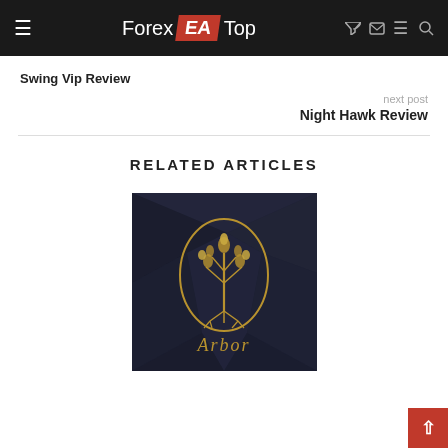Forex EA Top
Swing Vip Review
next post
Night Hawk Review
RELATED ARTICLES
[Figure (logo): Arbor logo — dark polygon background with gold tree in oval ring and 'Arbor' text in gold below]